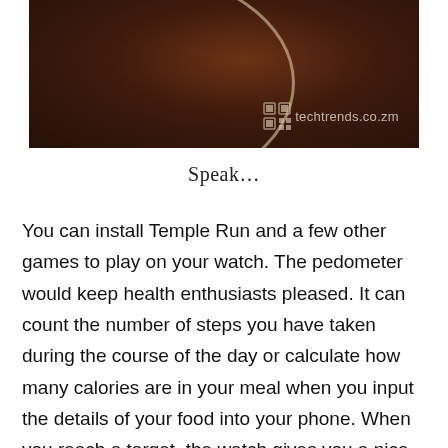[Figure (photo): Close-up photo of a dark brown smartwatch face with a curved glass arc reflecting light, on a dark background. Watermark 'techtrends.co.zm' with QR icon in lower right.]
Speak…
You can install Temple Run and a few other games to play on your watch. The pedometer would keep health enthusiasts pleased. It can count the number of steps you have taken during the course of the day or calculate how many calories are in your meal when you input the details of your food into your phone. When you reach a target, the watch gives you a nice little